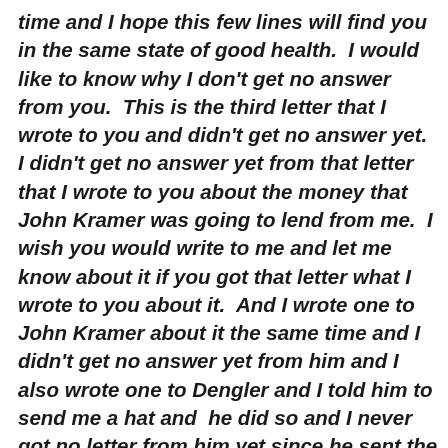time and I hope this few lines will find you in the same state of good health.  I would like to know why I don't get no answer from you.  This is the third letter that I wrote to you and didn't get no answer yet.  I didn't get no answer yet from that letter that I wrote to you about the money that John Kramer was going to lend from me.  I wish you would write to me and let me know about it if you got that letter what I wrote to you about it.  And I wrote one to John Kramer about it the same time and I didn't get no answer yet from him and I also wrote one to Dengler and I told him to send me a hat and  he did so and I never got no letter from him yet since he sent the hat.  I wish you would go there and see what the hat and postage cost and take some of my money and pay him